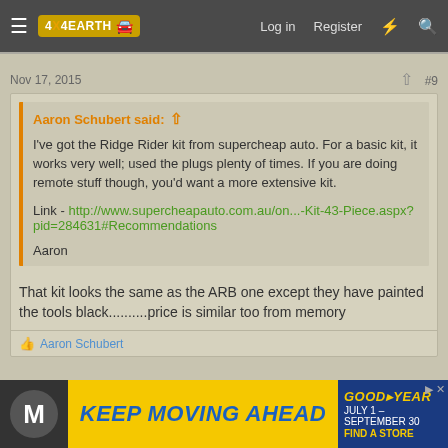4X4EARTH — Log in  Register
Nov 17, 2015  #9
Aaron Schubert said: ↑

I've got the Ridge Rider kit from supercheap auto. For a basic kit, it works very well; used the plugs plenty of times. If you are doing remote stuff though, you'd want a more extensive kit.

Link - http://www.supercheapauto.com.au/on...-Kit-43-Piece.aspx?pid=284631#Recommendations

Aaron
That kit looks the same as the ARB one except they have painted the tools black..........price is similar too from memory
👍 Aaron Schubert
[Figure (screenshot): Goodyear advertisement banner: KEEP MOVING AHEAD, JULY 1 – SEPTEMBER 30, FIND A STORE]